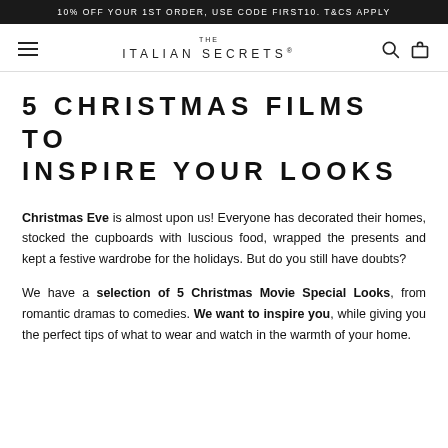10% OFF YOUR 1ST ORDER, USE CODE FIRST10. T&CS APPLY
[Figure (logo): THE ITALIAN SECRETS logo with hamburger menu, search and cart icons]
5 CHRISTMAS FILMS TO INSPIRE YOUR LOOKS
Christmas Eve is almost upon us! Everyone has decorated their homes, stocked the cupboards with luscious food, wrapped the presents and kept a festive wardrobe for the holidays. But do you still have doubts?
We have a selection of 5 Christmas Movie Special Looks, from romantic dramas to comedies. We want to inspire you, while giving you the perfect tips of what to wear and watch in the warmth of your home.